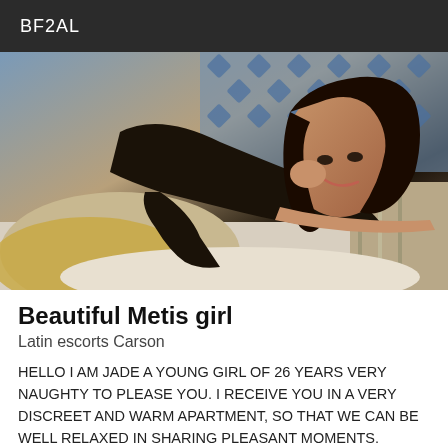BF2AL
[Figure (photo): A young woman with long dark hair wearing a black lace bodysuit, lying on a bed with decorative pillows and blue patterned background.]
Beautiful Metis girl
Latin escorts Carson
HELLO I AM JADE A YOUNG GIRL OF 26 YEARS VERY NAUGHTY TO PLEASE YOU. I RECEIVE YOU IN A VERY DISCREET AND WARM APARTMENT, SO THAT WE CAN BE WELL RELAXED IN SHARING PLEASANT MOMENTS.